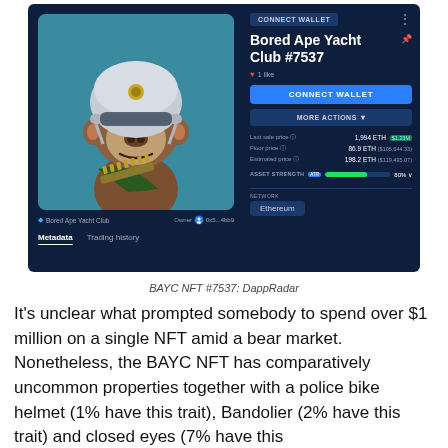[Figure (screenshot): Screenshot of DappRadar showing Bored Ape Yacht Club NFT #7537. Left panel shows the NFT image of a bored ape wearing a police bike helmet and bandolier on teal background, labeled 'Bored Ape Yacht Club', owner '0x5...4bb9'. Right panel shows title 'Bored Ape Yacht Club #7537', 1 like, Connect Wallet button, More Actions button, price info: Last sale price 1,994 ETH ($1.23M), Floor price 86.9 ETH ($105,644.33), Estimated price 198.2 ETH ($119,495.07), Asset Strength 80%, Network: Ethereum. Bottom tabs: Metadata, Trading history.]
BAYC NFT #7537: DappRadar
It's unclear what prompted somebody to spend over $1 million on a single NFT amid a bear market. Nonetheless, the BAYC NFT has comparatively uncommon properties together with a police bike helmet (1% have this trait), Bandolier (2% have this trait) and closed eyes (7% have this